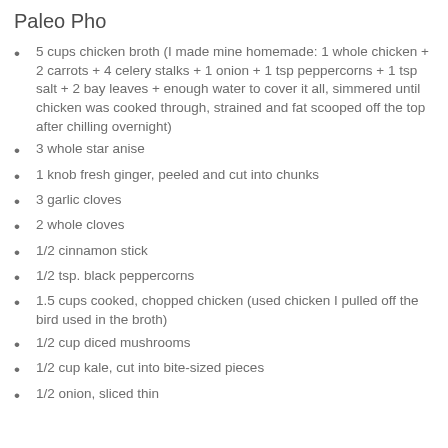Paleo Pho
5 cups chicken broth (I made mine homemade: 1 whole chicken + 2 carrots + 4 celery stalks + 1 onion + 1 tsp peppercorns + 1 tsp salt + 2 bay leaves + enough water to cover it all, simmered until chicken was cooked through, strained and fat scooped off the top after chilling overnight)
3 whole star anise
1 knob fresh ginger, peeled and cut into chunks
3 garlic cloves
2 whole cloves
1/2 cinnamon stick
1/2 tsp. black peppercorns
1.5 cups cooked, chopped chicken (used chicken I pulled off the bird used in the broth)
1/2 cup diced mushrooms
1/2 cup kale, cut into bite-sized pieces
1/2 onion, sliced thin